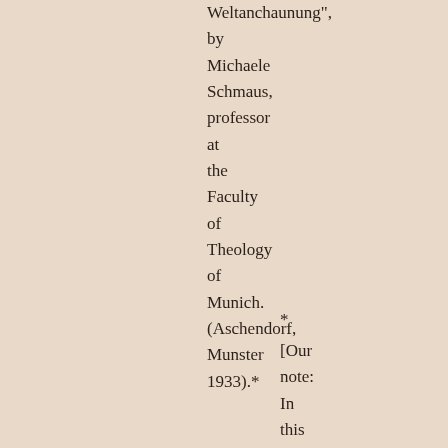Weltanchaunung", by Michaele Schmaus, professor at the Faculty of Theology of Munich. (Aschendorf, Munster 1933).*
* [Our note: In this excerpt we see the